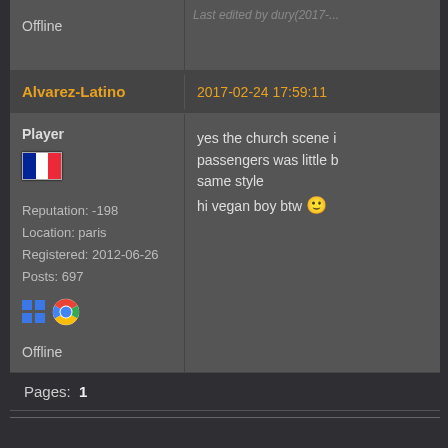Offline
Last edited by dury(2017-...
Alvarez-Latino
2017-02-24 17:59:11
Player
[Figure (illustration): French flag (blue, white, red tricolor)]
Reputation: -198
Location: paris
Registered: 2012-06-26
Posts: 697
[Figure (illustration): Windows icon (blue grid) and Google Chrome browser icon]
Offline
yes the church scene i
passengers was little b
same style
hi vegan boy btw 🙂
Pages: 1
Index » Off-Topic » Anthropoid